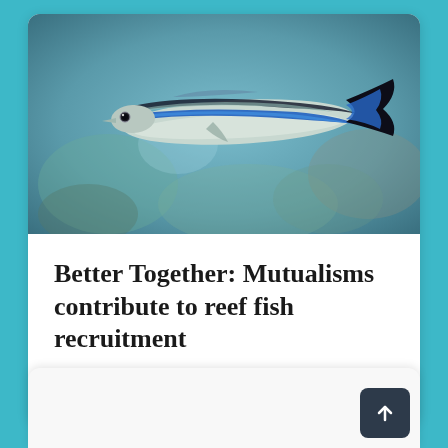[Figure (photo): Close-up photo of a small reef fish (likely a cleaner wrasse) with a distinctive blue stripe along its side and black tail fin, swimming against a blurred aquatic background.]
Better Together: Mutualisms contribute to reef fish recruitment
October 27, 2015   Rebecca Flynn